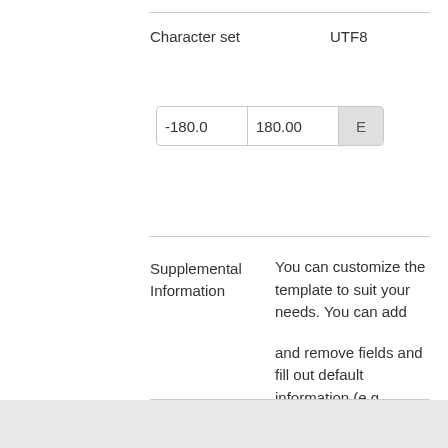Character set    UTF8
[Figure (screenshot): Input widget showing two text fields with values -180.0 and 180.00, followed by a button labeled E]
Supplemental Information    You can customize the template to suit your needs. You can add

and remove fields and fill out default information (e.g. contact details).

Fields you can not change in the default view may be accessible in the more

comprehensive (and more complex) advanced view. You can even use the XML editor